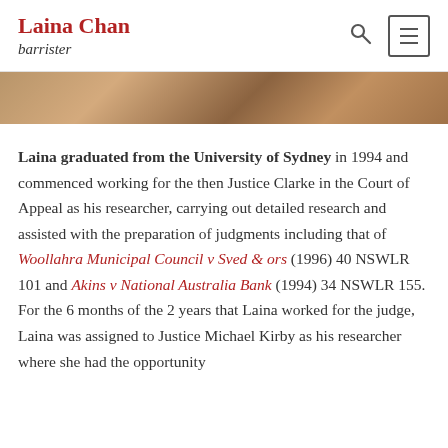Laina Chan barrister
[Figure (photo): Partial photo strip visible at top of content area, showing a cropped image]
Laina graduated from the University of Sydney in 1994 and commenced working for the then Justice Clarke in the Court of Appeal as his researcher, carrying out detailed research and assisted with the preparation of judgments including that of Woollahra Municipal Council v Sved & ors (1996) 40 NSWLR 101 and Akins v National Australia Bank (1994) 34 NSWLR 155. For the 6 months of the 2 years that Laina worked for the judge, Laina was assigned to Justice Michael Kirby as his researcher where she had the opportunity